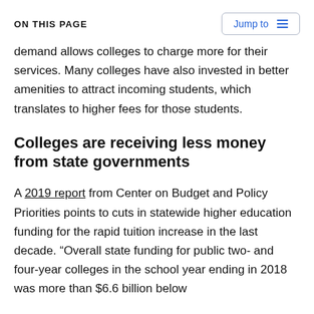ON THIS PAGE
demand allows colleges to charge more for their services. Many colleges have also invested in better amenities to attract incoming students, which translates to higher fees for those students.
Colleges are receiving less money from state governments
A 2019 report from Center on Budget and Policy Priorities points to cuts in statewide higher education funding for the rapid tuition increase in the last decade. “Overall state funding for public two- and four-year colleges in the school year ending in 2018 was more than $6.6 billion below